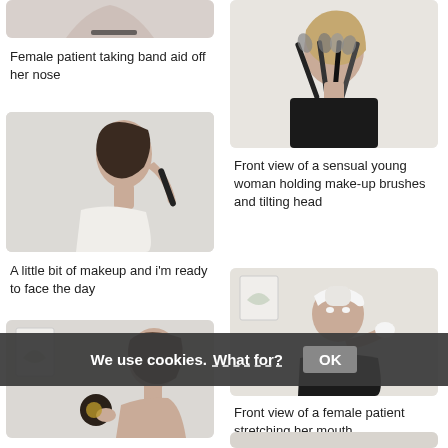[Figure (photo): Top of female patient torso, partial image (cropped)]
Female patient taking band aid off her nose
[Figure (photo): Front view of sensual young woman holding make-up brushes]
[Figure (photo): Young woman applying makeup with brush]
Front view of a sensual young woman holding make-up brushes and tilting head
A little bit of makeup and i'm ready to face the day
[Figure (photo): Female patient applying skincare product to face]
[Figure (photo): Three-quarter view of sensual young woman holding makeup product]
Front view of a female patient stretching her mouth
Three-quarter view of a sensual young woman
[Figure (photo): Partial photo bottom right]
We use cookies. What for? OK